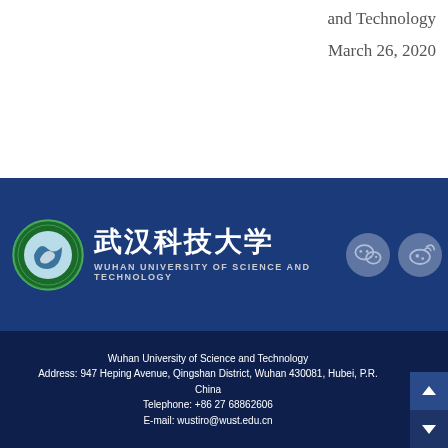and Technology
March 26, 2020
[Figure (logo): Wuhan University of Science and Technology logo banner on blue background with Chinese characters 武汉科技大学, circular seal logo, and social media icons (WeChat, Weibo)]
Wuhan University of Science and Technology
Address: 947 Heping Avenue, Qingshan District, Wuhan 430081, Hubei, P.R. China
Telephone: +86 27 68862606
E-mail: wustiro@wust.edu.cn